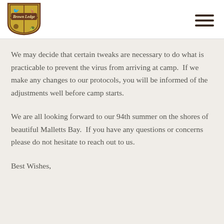[Figure (logo): Brown Ledge camp shield logo with animals and text 'Brown Ledge']
We may decide that certain tweaks are necessary to do what is practicable to prevent the virus from arriving at camp.  If we make any changes to our protocols, you will be informed of the adjustments well before camp starts.
We are all looking forward to our 94th summer on the shores of beautiful Malletts Bay.  If you have any questions or concerns please do not hesitate to reach out to us.
Best Wishes,